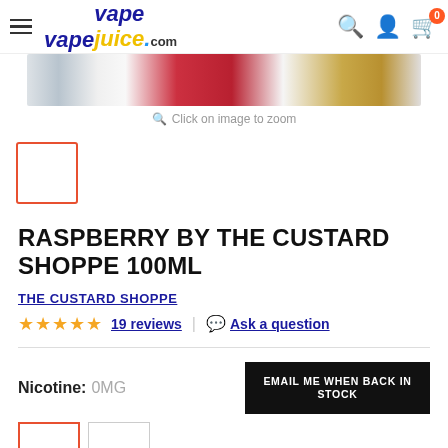Vape Juice .com | navigation with search, account, cart (0)
[Figure (photo): Product image strip showing Raspberry by The Custard Shoppe packaging]
Click on image to zoom
[Figure (photo): Thumbnail image with orange border selector]
RASPBERRY BY THE CUSTARD SHOPPE 100ML
THE CUSTARD SHOPPE
★★★★★ 19 reviews | Ask a question
Nicotine: 0MG
EMAIL ME WHEN BACK IN STOCK